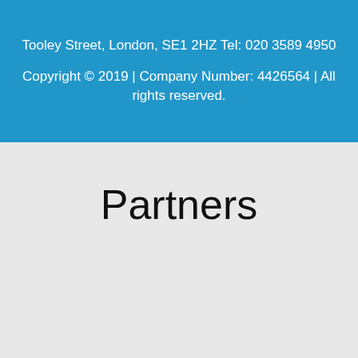Tooley Street, London, SE1 2HZ Tel: 020 3589 4950
Copyright © 2019 | Company Number: 4426564 | All rights reserved.
Partners